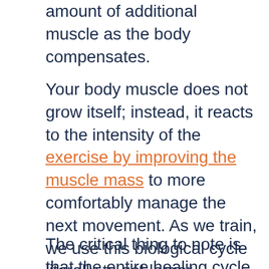amount of additional muscle as the body compensates.
Your body muscle does not grow itself; instead, it reacts to the intensity of the exercise by improving the muscle mass to more comfortably manage the next movement. As we train, we use this biological cycle literally to get larger muscles.
The critical thing to note is that the entire healing cycle is made possible by testosterone. Your body needs